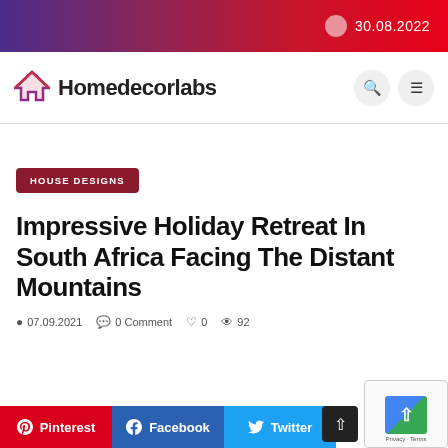30.08.2022
Homedecorlabs
HOUSE DESIGNS
Impressive Holiday Retreat In South Africa Facing The Distant Mountains
07.09.2021  0 Comment  0  92
Pinterest  Facebook  Twitter